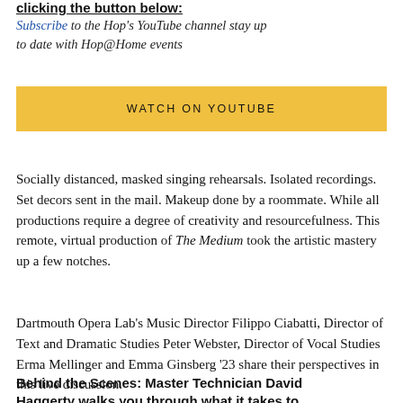clicking the button below:
Subscribe to the Hop's YouTube channel stay up to date with Hop@Home events
WATCH ON YOUTUBE
Socially distanced, masked singing rehearsals. Isolated recordings. Set decors sent in the mail. Makeup done by a roommate. While all productions require a degree of creativity and resourcefulness. This remote, virtual production of The Medium took the artistic mastery up a few notches.
Dartmouth Opera Lab's Music Director Filippo Ciabatti, Director of Text and Dramatic Studies Peter Webster, Director of Vocal Studies Erma Mellinger and Emma Ginsberg '23 share their perspectives in this live discussion.
Behind the Scenes: Master Technician David Haggerty walks you through what it takes to